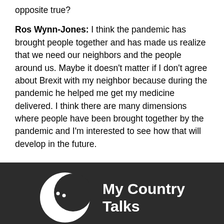opposite true?
Ros Wynn-Jones: I think the pandemic has brought people together and has made us realize that we need our neighbors and the people around us. Maybe it doesn't matter if I don't agree about Brexit with my neighbor because during the pandemic he helped me get my medicine delivered. I think there are many dimensions where people have been brought together by the pandemic and I'm interested to see how that will develop in the future.
[Figure (logo): My Country Talks logo — white crescent face silhouette on dark background with text 'My Country Talks']
Contact